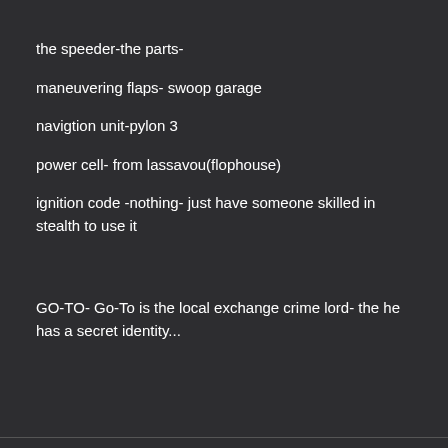the speeder-the parts-
maneuvering flaps- swoop garage
navigtion unit-pylon 3
power cell- from lassavou(flophouse)
ignition code -nothing- just have someone skilled in stealth to use it
GO-TO- Go-To is the local exchange crime lord- the he has a secret identity...